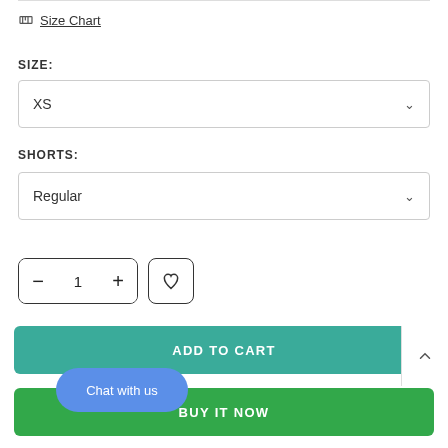Size Chart
SIZE:
XS
SHORTS:
Regular
- 1 +
ADD TO CART
BUY IT NOW
Chat with us